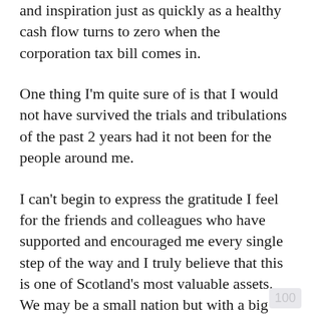and inspiration just as quickly as a healthy cash flow turns to zero when the corporation tax bill comes in.
One thing I'm quite sure of is that I would not have survived the trials and tribulations of the past 2 years had it not been for the people around me.
I can't begin to express the gratitude I feel for the friends and colleagues who have supported and encouraged me every single step of the way and I truly believe that this is one of Scotland's most valuable assets. We may be a small nation but with a big heart and an even larger appetite to make a difference.
So to everyone the corporations and all the rest...
100